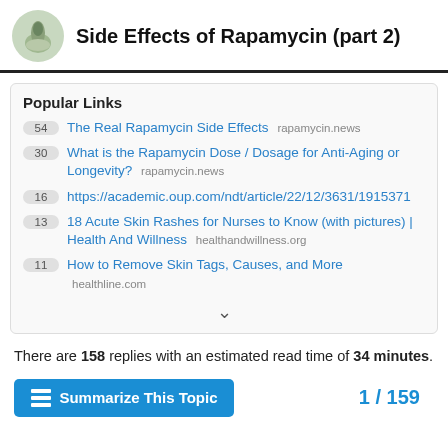Side Effects of Rapamycin (part 2)
Popular Links
54 The Real Rapamycin Side Effects rapamycin.news
30 What is the Rapamycin Dose / Dosage for Anti-Aging or Longevity? rapamycin.news
16 https://academic.oup.com/ndt/article/22/12/3631/1915371
13 18 Acute Skin Rashes for Nurses to Know (with pictures) | Health And Willness healthandwillness.org
11 How to Remove Skin Tags, Causes, and More healthline.com
There are 158 replies with an estimated read time of 34 minutes.
Summarize This Topic
1 / 159